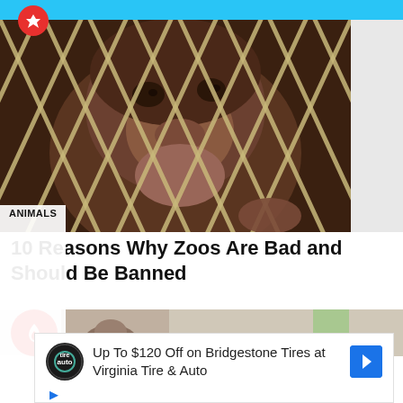[Figure (photo): Close-up of a chimpanzee or primate behind a chain-link fence, looking out from behind metal bars. Dark brown fur visible. Photo is cropped with a gray panel on the right.]
ANIMALS
10 Reasons Why Zoos Are Bad and Should Be Banned
[Figure (photo): Partial view of a second article thumbnail showing a bear or animal outdoors, partially obscured by an advertisement overlay.]
Up To $120 Off on Bridgestone Tires at Virginia Tire & Auto